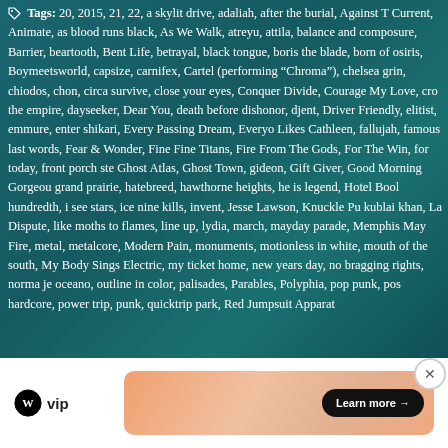Tags: 20, 2015, 21, 22, a skylit drive, adaliah, after the burial, Against The Current, Animate, as blood runs black, As We Walk, atreyu, attila, balance and composure, Barrier, beartooth, Bent Life, betrayal, black tongue, boris the blade, born of osiris, Boymeetsworld, capsize, carnifex, Cartel (performing "Chroma"), chelsea grin, chiodos, chon, circa survive, close your eyes, Conquer Divide, Courage My Love, cro, the empire, dayseeker, Dear You, death before dishonor, djent, Driver Friendly, elitist, emmure, enter shikari, Every Passing Dream, Everyone Likes Cathleen, fallujah, famous last words, Fear & Wonder, Fine Fine Titans, Fire From The Gods, For The Win, for today, front porch step, Ghost Atlas, Ghost Town, gideon, Gift Giver, Good Morning Gorgeous, grand prairie, hatebreed, hawthorne heights, he is legend, Hotel Books, hundredth, i see stars, ice nine kills, invent, Jesse Lawson, Knuckle Puck, kublai khan, La Dispute, like moths to flames, line up, lydia, march, mayday parade, Memphis May Fire, metal, metalcore, Modern Pain, monuments, motionless in white, mouth of the south, My Body Sings Electric, my ticket home, new years day, no bragging rights, norma jean, oceano, outline in color, palisades, Parables, Polyphia, pop punk, post hardcore, power trip, punk, quicktrip park, Red Jumpsuit Apparatus
[Figure (infographic): WordPress VIP advertisement banner with Learn more button]